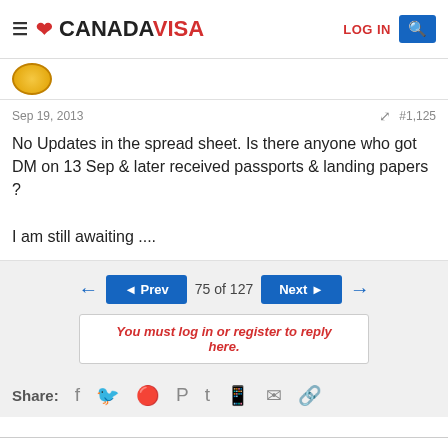CANADAVISA — LOG IN
Sep 19, 2013   #1,125
No Updates in the spread sheet. Is there anyone who got DM on 13 Sep & later received passports & landing papers ?

I am still awaiting ....
◄ Prev   75 of 127   Next ►
You must log in or register to reply here.
Share:
< Skilled Worker / Professional Immigration